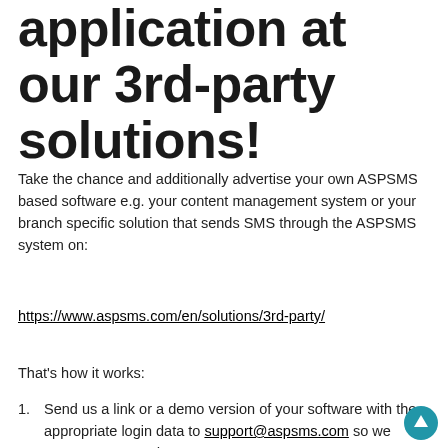application at our 3rd-party solutions!
Take the chance and additionally advertise your own ASPSMS based software e.g. your content management system or your branch specific solution that sends SMS through the ASPSMS system on:
https://www.aspsms.com/en/solutions/3rd-party/
That's how it works:
Send us a link or a demo version of your software with the appropriate login data to support@aspsms.com so we can test your product.
We shall examine your software and let you know if we shall publish it at ASPSMS 3rd-party solutions. Please understand that we can only take well-engineered and...